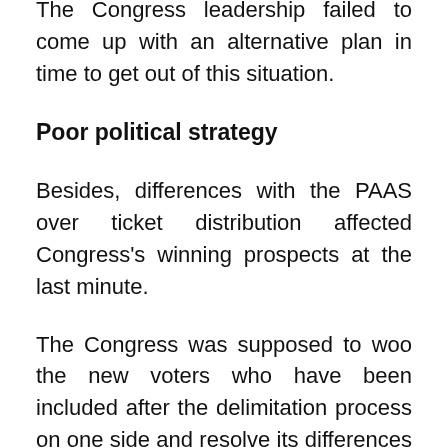The Congress leadership failed to come up with an alternative plan in time to get out of this situation.
Poor political strategy
Besides, differences with the PAAS over ticket distribution affected Congress’s winning prospects at the last minute.
The Congress was supposed to woo the new voters who have been included after the delimitation process on one side and resolve its differences with PAAS leaders on the other. But the party failed miserably on both fronts. This is the reason that leaders including Praful Togadia had to taste defeat.